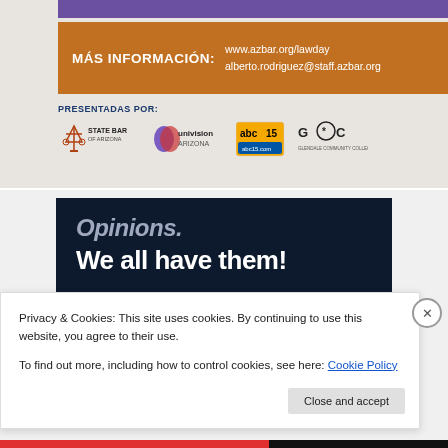[Figure (infographic): Purple decorative bar at top of advertisement section]
MÁS INFORMACIÓN: www.azbar.org/lawday alberto.rodriguez@staff.azbar.org
PRESENTADAS POR:
[Figure (logo): Logos of sponsors: State Bar of Arizona, Univision Arizona, abc15 abc15.com, Glendale Community College]
[Figure (infographic): Dark navy banner with text 'Opinions. We all have them!' with decorative elements]
Privacy & Cookies: This site uses cookies. By continuing to use this website, you agree to their use.
To find out more, including how to control cookies, see here: Cookie Policy
Close and accept